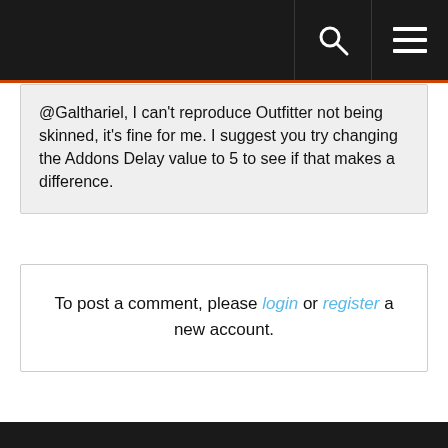@Galthariel, I can't reproduce Outfitter not being skinned, it's fine for me. I suggest you try changing the Addons Delay value to 5 to see if that makes a difference.
To post a comment, please login or register a new account.
« | <<    «<    346 ˅    >>    «>>|
Forums ► General AddOns